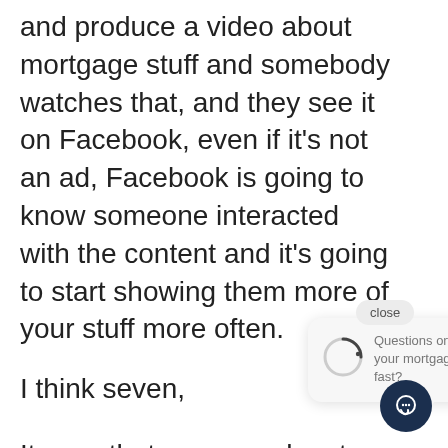and produce a video about mortgage stuff and somebody watches that, and they see it on Facebook, even if it's not an ad, Facebook is going to know someone interacted with the content and it's going to start showing them more of your stuff more often.
I think seven,
[Figure (screenshot): Chat popup overlay showing a loading spinner and the text 'Questions on how to grow your mortgage business fast?' with a close button and dark teal chat icon button]
It says that someone has to see your message seven times and if they see you seven times and you're helping them every single